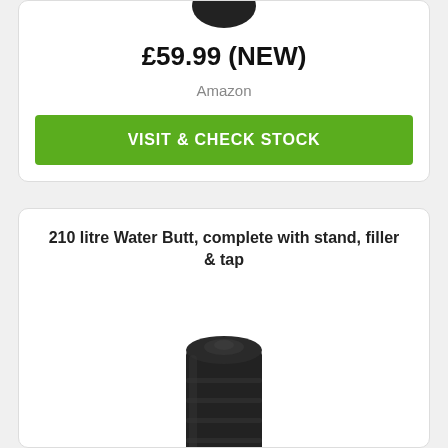£59.99 (NEW)
Amazon
VISIT & CHECK STOCK
210 litre Water Butt, complete with stand, filler & tap
[Figure (photo): Black 210 litre water butt barrel with stand]